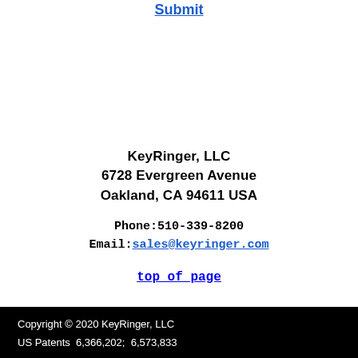Submit
KeyRinger, LLC
6728 Evergreen Avenue
Oakland, CA 94611 USA
Phone:510-339-8200
Email:sales@keyringer.com
top of page
Copyright © 2020 KeyRinger, LLC
US Patents  6,366,202;  6,573,833